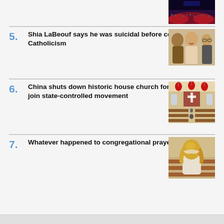[Figure (photo): Partial view of a crowd at an event, red lighting, arena setting]
5. Shia LaBeouf says he was suicidal before conversion to Catholicism
[Figure (photo): Shia LaBeouf smiling with friars/monks in brown robes]
6. China shuts down historic house church for refusing to join state-controlled movement
[Figure (photo): Interior of a church with red lanterns and pews]
7. Whatever happened to congregational prayer?
[Figure (photo): Person with blonde hair sitting in church pew, viewed from behind]